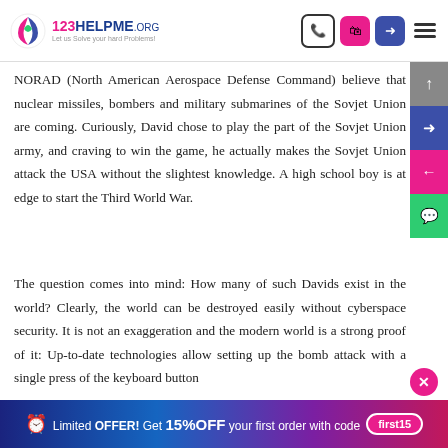123HELPME.ORG - Let us Solve your hard Problems!
NORAD (North American Aerospace Defense Command) believe that nuclear missiles, bombers and military submarines of the Sovjet Union are coming. Curiously, David chose to play the part of the Sovjet Union army, and craving to win the game, he actually makes the Sovjet Union attack the USA without the slightest knowledge. A high school boy is at edge to start the Third World War.
The question comes into mind: How many of such Davids exist in the world? Clearly, the world can be destroyed easily without cyberspace security. It is not an exaggeration and the modern world is a strong proof of it: Up-to-date technologies allow setting up the bomb attack with a single press of the keyboard button
Limited OFFER! Get 15%OFF your first order with code first15